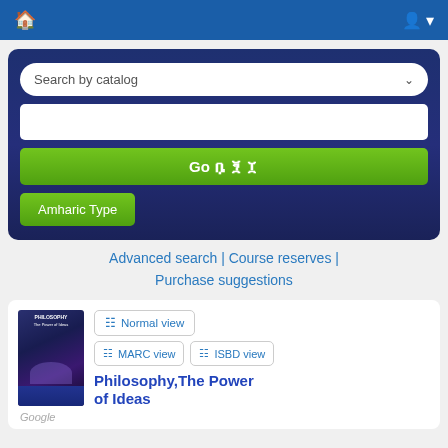Library catalog header with home and user icons
[Figure (screenshot): Search interface with dropdown 'Search by catalog', text input, green Go button, and green Amharic Type button on dark blue background]
Advanced search | Course reserves | Purchase suggestions
[Figure (screenshot): Book catalog result showing book cover for Philosophy The Power of Ideas, with Normal view, MARC view, and ISBD view buttons]
Philosophy,The Power of Ideas